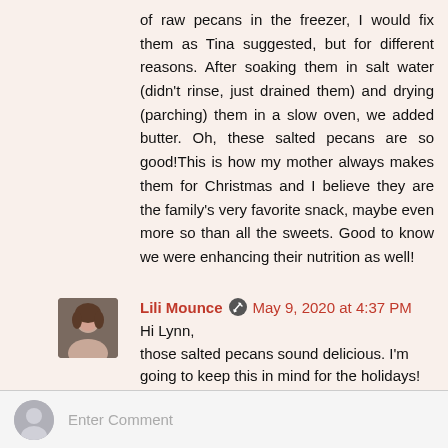of raw pecans in the freezer, I would fix them as Tina suggested, but for different reasons. After soaking them in salt water (didn't rinse, just drained them) and drying (parching) them in a slow oven, we added butter. Oh, these salted pecans are so good!This is how my mother always makes them for Christmas and I believe they are the family's very favorite snack, maybe even more so than all the sweets. Good to know we were enhancing their nutrition as well!
Lili Mounce [editor icon] May 9, 2020 at 4:37 PM
Hi Lynn,
those salted pecans sound delicious. I'm going to keep this in mind for the holidays! Thank you!
Reply
Enter Comment